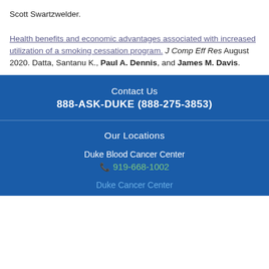Scott Swartzwelder. Health benefits and economic advantages associated with increased utilization of a smoking cessation program. J Comp Eff Res August 2020. Datta, Santanu K., Paul A. Dennis, and James M. Davis.
Contact Us
888-ASK-DUKE (888-275-3853)
Our Locations
Duke Blood Cancer Center
919-668-1002
Duke Cancer Center